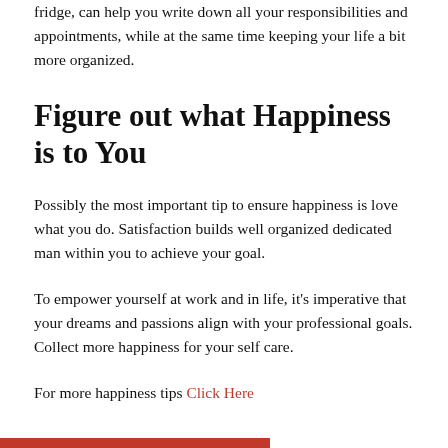fridge, can help you write down all your responsibilities and appointments, while at the same time keeping your life a bit more organized.
Figure out what Happiness is to You
Possibly the most important tip to ensure happiness is love what you do. Satisfaction builds well organized dedicated man within you to achieve your goal.
To empower yourself at work and in life, it's imperative that your dreams and passions align with your professional goals. Collect more happiness for your self care.
For more happiness tips Click Here